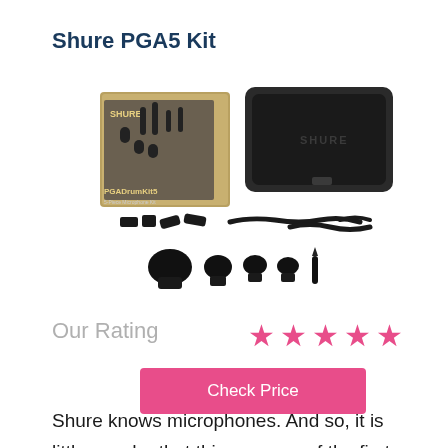Shure PGA5 Kit
[Figure (photo): Shure PGA Drum Kit 5 product photo showing the carrying case, microphones, clips, and cables laid out on a white background]
Our Rating
[Figure (infographic): 5 pink star rating icons]
Check Price
Shure knows microphones. And so, it is little wonder that this was one of the first kits we